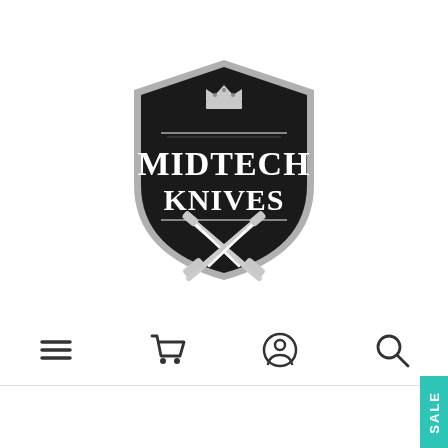[Figure (logo): Midtech Knives shield logo: black shield with silver border, crown at top, text MIDTECH KNIVES in white bold serif font, crossed knives/daggers below the text]
[Figure (other): Navigation bar icons: hamburger menu (three horizontal lines), shopping cart, user/account circle, search/magnify glass]
[Figure (other): Teal/turquoise vertical SALE tab in bottom-right corner]